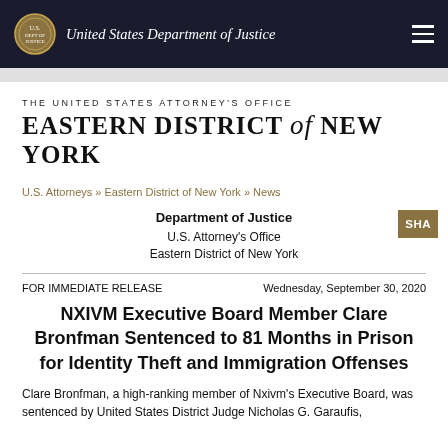United States Department of Justice
THE UNITED STATES ATTORNEY'S OFFICE
EASTERN DISTRICT of NEW YORK
U.S. Attorneys » Eastern District of New York » News
Department of Justice
U.S. Attorney's Office
Eastern District of New York
FOR IMMEDIATE RELEASE
Wednesday, September 30, 2020
NXIVM Executive Board Member Clare Bronfman Sentenced to 81 Months in Prison for Identity Theft and Immigration Offenses
Clare Bronfman, a high-ranking member of Nxivm's Executive Board, was sentenced by United States District Judge Nicholas G. Garaufis,